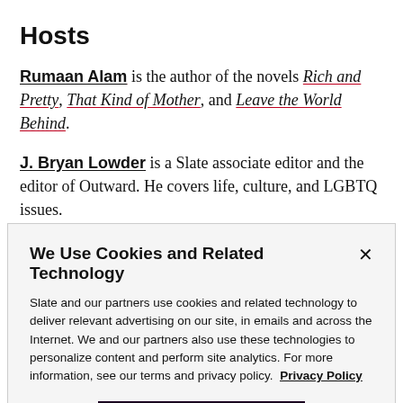Hosts
Rumaan Alam is the author of the novels Rich and Pretty, That Kind of Mother, and Leave the World Behind.
J. Bryan Lowder is a Slate associate editor and the editor of Outward. He covers life, culture, and LGBTQ issues.
We Use Cookies and Related Technology
Slate and our partners use cookies and related technology to deliver relevant advertising on our site, in emails and across the Internet. We and our partners also use these technologies to personalize content and perform site analytics. For more information, see our terms and privacy policy. Privacy Policy
OK